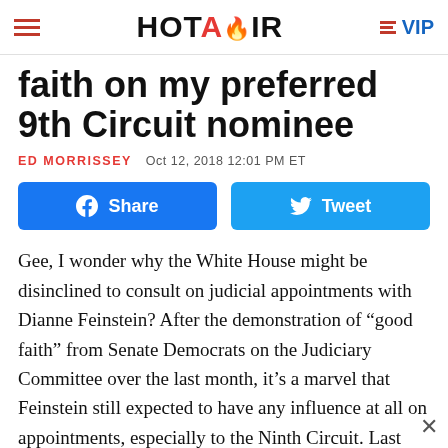HOT AIR | VIP
faith on my preferred 9th Circuit nominee
ED MORRISSEY  Oct 12, 2018 12:01 PM ET
[Figure (other): Social sharing buttons: Facebook Share and Twitter Tweet]
Gee, I wonder why the White House might be disinclined to consult on judicial appointments with Dianne Feinstein? After the demonstration of “good faith” from Senate Democrats on the Judiciary Committee over the last month, it’s a marvel that Feinstein still expected to have any influence at all on appointments, especially to the Ninth Circuit. Last night, the White House released three new nominations, none